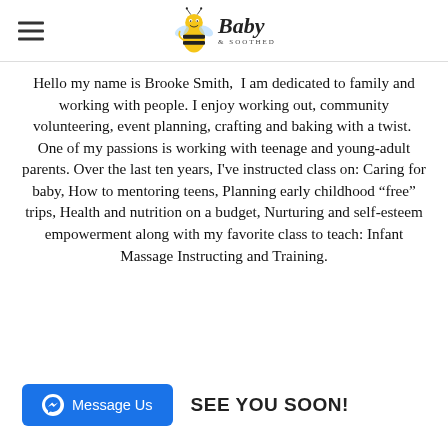Baby & Soothed (logo with bee)
Hello my name is Brooke Smith,  I am dedicated to family and working with people. I enjoy working out, community volunteering, event planning, crafting and baking with a twist.  One of my passions is working with teenage and young-adult parents. Over the last ten years, I've instructed class on: Caring for baby, How to mentoring teens, Planning early childhood “free” trips, Health and nutrition on a budget, Nurturing and self-esteem empowerment along with my favorite class to teach: Infant Massage Instructing and Training.
Message Us
SEE YOU SOON!